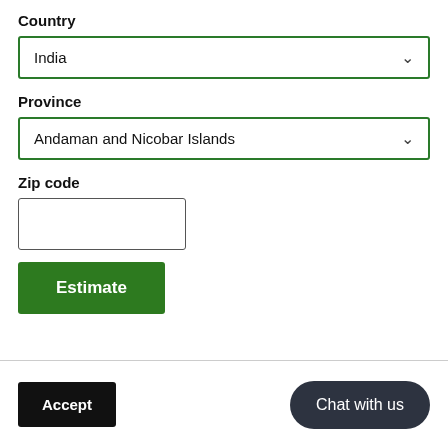Country
[Figure (screenshot): Dropdown field showing 'India' with green border and chevron]
Province
[Figure (screenshot): Dropdown field showing 'Andaman and Nicobar Islands' with green border and chevron]
Zip code
[Figure (screenshot): Empty text input box for zip code]
[Figure (screenshot): Green 'Estimate' button]
[Figure (screenshot): Bottom bar with black 'Accept' button and dark rounded 'Chat with us' button]